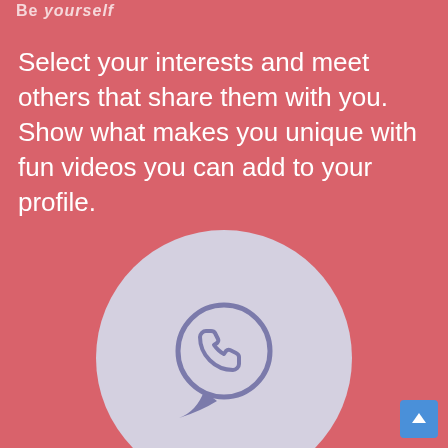Be yourself
Select your interests and meet others that share them with you. Show what makes you unique with fun videos you can add to your profile.
[Figure (illustration): A large light lavender circle containing a WhatsApp-style phone/chat bubble icon in muted purple/lavender color, centered in the lower half of the page.]